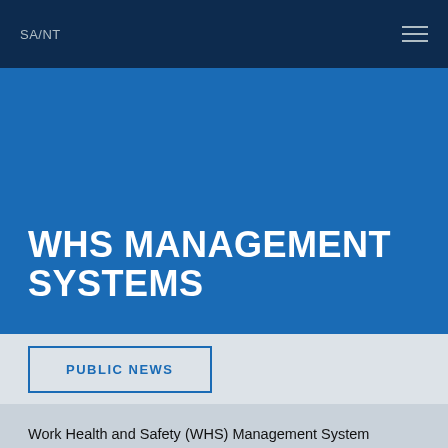SA/NT
WHS MANAGEMENT SYSTEMS
PUBLIC NEWS
Work Health and Safety (WHS) Management System